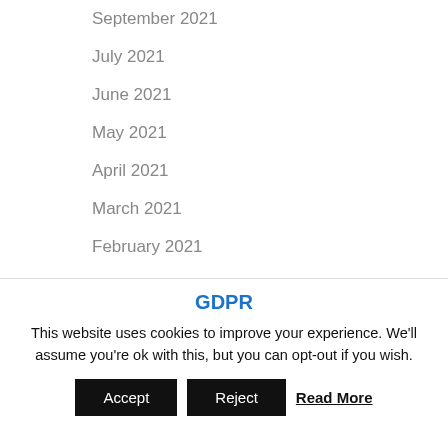September 2021
July 2021
June 2021
May 2021
April 2021
March 2021
February 2021
January 2021
October 2020
GDPR
This website uses cookies to improve your experience. We'll assume you're ok with this, but you can opt-out if you wish.
Accept   Reject   Read More